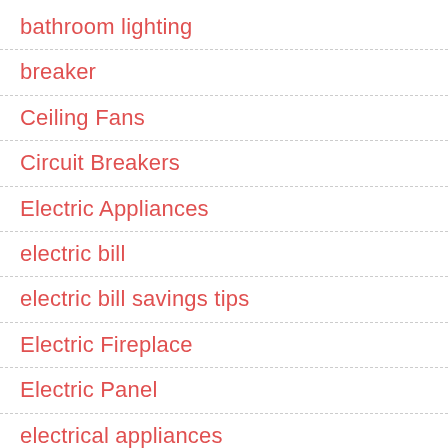bathroom lighting
breaker
Ceiling Fans
Circuit Breakers
Electric Appliances
electric bill
electric bill savings tips
Electric Fireplace
Electric Panel
electrical appliances
Electrical Contractor